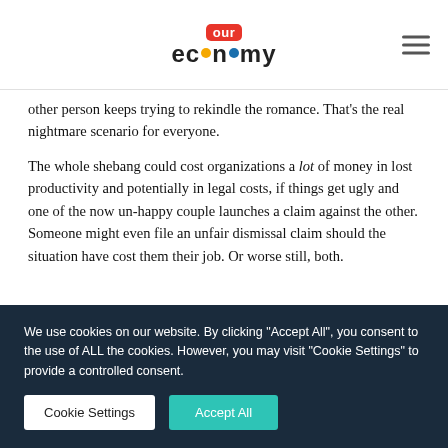our economy
other person keeps trying to rekindle the romance. That's the real nightmare scenario for everyone.
The whole shebang could cost organizations a lot of money in lost productivity and potentially in legal costs, if things get ugly and one of the now un-happy couple launches a claim against the other. Someone might even file an unfair dismissal claim should the situation have cost them their job. Or worse still, both.
We use cookies on our website. By clicking "Accept All", you consent to the use of ALL the cookies. However, you may visit "Cookie Settings" to provide a controlled consent.